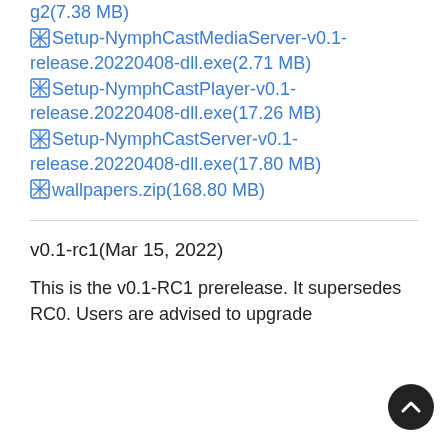g2(7.38 MB)
Setup-NymphCastMediaServer-v0.1-release.20220408-dll.exe(2.71 MB)
Setup-NymphCastPlayer-v0.1-release.20220408-dll.exe(17.26 MB)
Setup-NymphCastServer-v0.1-release.20220408-dll.exe(17.80 MB)
wallpapers.zip(168.80 MB)
v0.1-rc1(Mar 15, 2022)
This is the v0.1-RC1 prerelease. It supersedes RC0. Users are advised to upgrade